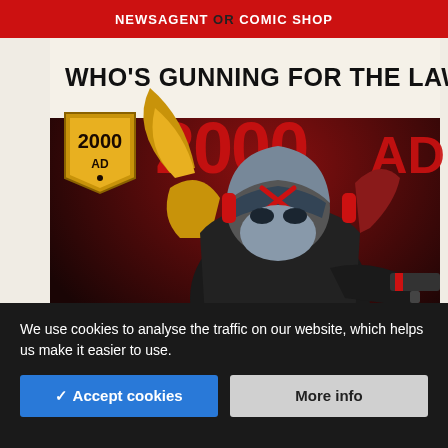NEWSAGENT OR COMIC SHOP
[Figure (illustration): 2000 AD comic magazine advertisement showing Judge Dredd character in armor holding a gun, with the text WHO'S GUNNING FOR THE LAW? and the 2000 AD logo in red and gold.]
We use cookies to analyse the traffic on our website, which helps us make it easier to use.
✓ Accept cookies
More info